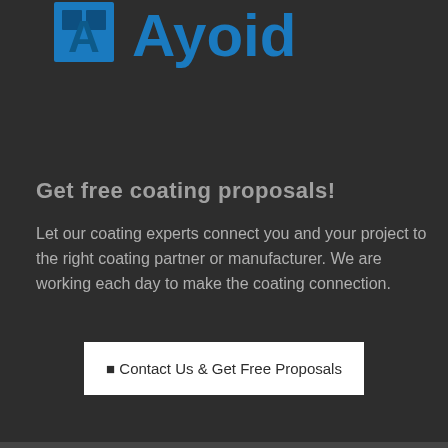[Figure (logo): Ayoid company logo with blue square icon and blue text 'Ayoid' partially visible at top of page]
Get free coating proposals!
Let our coating experts connect you and your project to the right coating partner or manufacturer. We are working each day to make the coating connection.
⬛ Contact Us & Get Free Proposals